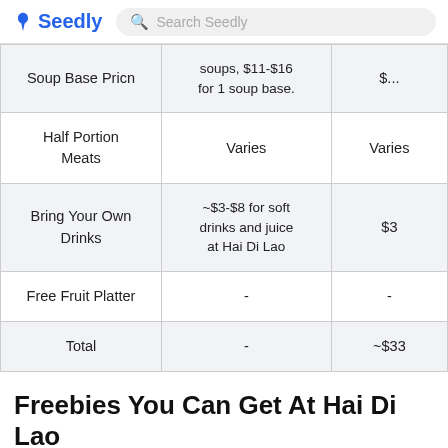Seedly   Search Seedly
| Item | Hai Di Lao Price | Comparison |
| --- | --- | --- |
| Soup Base Pricn | soups, $11-$16 for 1 soup base. | $... |
| Half Portion Meats | Varies | Varies |
| Bring Your Own Drinks | ~$3-$8 for soft drinks and juice at Hai Di Lao | $3 |
| Free Fruit Platter | - | - |
| Total | - | ~$33 |
Freebies You Can Get At Hai Di Lao